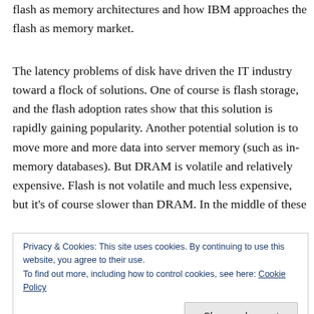flash as memory architectures and how IBM approaches the flash as memory market.
The latency problems of disk have driven the IT industry toward a flock of solutions. One of course is flash storage, and the flash adoption rates show that this solution is rapidly gaining popularity. Another potential solution is to move more and more data into server memory (such as in-memory databases). But DRAM is volatile and relatively expensive. Flash is not volatile and much less expensive, but it's of course slower than DRAM. In the middle of these
Privacy & Cookies: This site uses cookies. By continuing to use this website, you agree to their use.
To find out more, including how to control cookies, see here: Cookie Policy
about how to use flash as memory? In traditional use